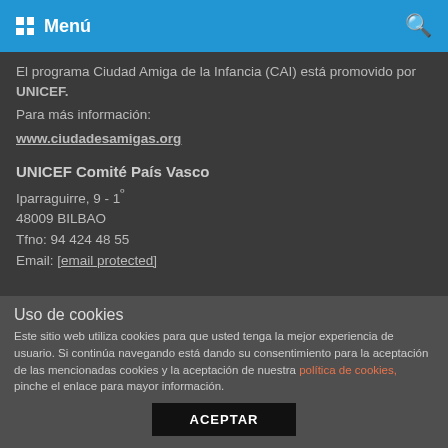Menú
El programa Ciudad Amiga de la Infancia (CAI) está promovido por UNICEF.
Para más información:
www.ciudadesamigas.org
UNICEF Comité País Vasco
Iparraguirre, 9 - 1º
48009 BILBAO
Tfno: 94 424 48 55
Email: [email protected]
Bilbao, ume eta nerabeen hiria
Uso de cookies
Este sitio web utiliza cookies para que usted tenga la mejor experiencia de usuario. Si continúa navegando está dando su consentimiento para la aceptación de las mencionadas cookies y la aceptación de nuestra política de cookies, pinche el enlace para mayor información.
ACEPTAR